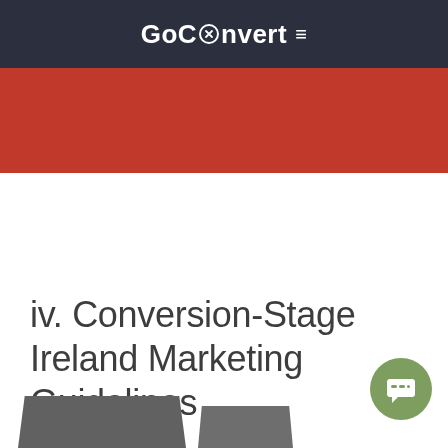GoConvert ≡
[Figure (other): Red banner/hero image area]
iv. Conversion-Stage Ireland Marketing Guidelines
[Figure (other): Chat bubble widget icon in olive green circle, bottom right]
[Figure (other): Partial laptop/device images visible at bottom of page]